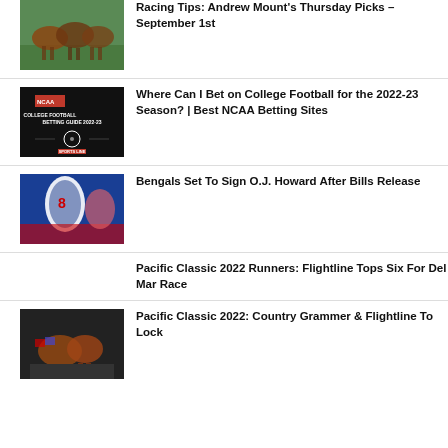Racing Tips: Andrew Mount's Thursday Picks – September 1st
Where Can I Bet on College Football for the 2022-23 Season? | Best NCAA Betting Sites
Bengals Set To Sign O.J. Howard After Bills Release
Pacific Classic 2022 Runners: Flightline Tops Six For Del Mar Race
Pacific Classic 2022: Country Grammer & Flightline To Lock